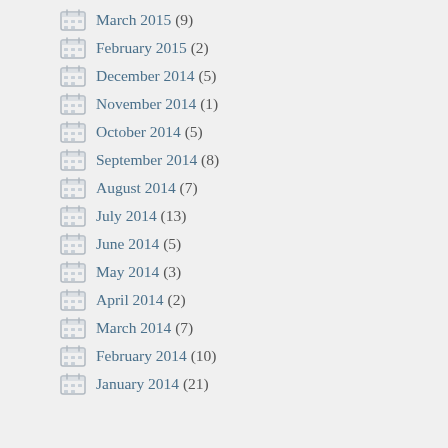March 2015 (9)
February 2015 (2)
December 2014 (5)
November 2014 (1)
October 2014 (5)
September 2014 (8)
August 2014 (7)
July 2014 (13)
June 2014 (5)
May 2014 (3)
April 2014 (2)
March 2014 (7)
February 2014 (10)
January 2014 (21)